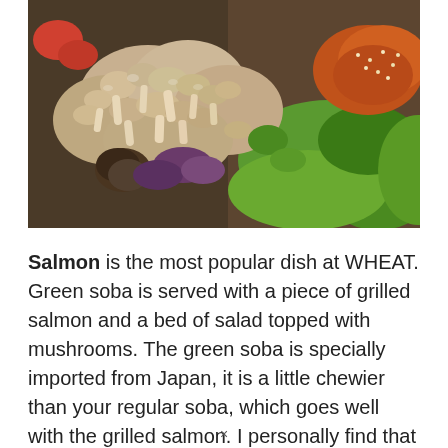[Figure (photo): Close-up photo of a Japanese dish showing shimeji mushrooms, green soba noodles, salad greens, and a piece of grilled salmon with sesame seeds on the right.]
Salmon is the most popular dish at WHEAT. Green soba is served with a piece of grilled salmon and a bed of salad topped with mushrooms. The green soba is specially imported from Japan, it is a little chewier than your regular soba, which goes well with the grilled salmon. I personally find that the salmon
×